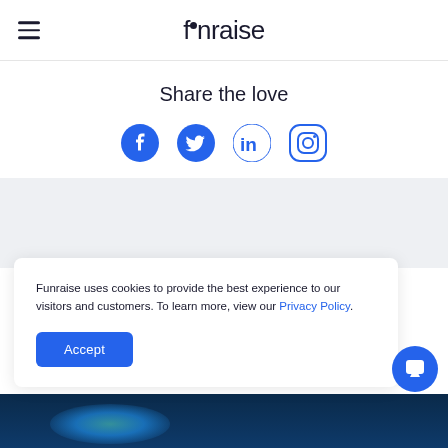funraise
Share the love
[Figure (other): Social media icons: Facebook, Twitter, LinkedIn, Instagram in blue]
Funraise uses cookies to provide the best experience to our visitors and customers. To learn more, view our Privacy Policy.
Accept
[Figure (other): Dark blue background image with teal/cyan glow at bottom of page]